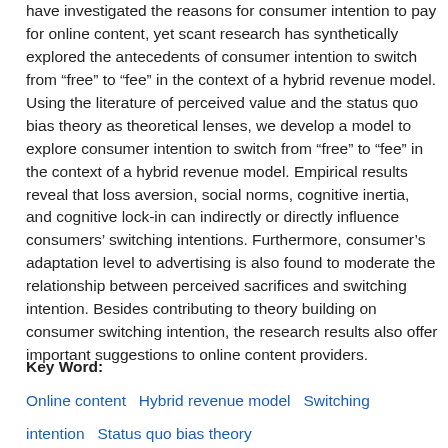have investigated the reasons for consumer intention to pay for online content, yet scant research has synthetically explored the antecedents of consumer intention to switch from “free” to “fee” in the context of a hybrid revenue model. Using the literature of perceived value and the status quo bias theory as theoretical lenses, we develop a model to explore consumer intention to switch from “free” to “fee” in the context of a hybrid revenue model. Empirical results reveal that loss aversion, social norms, cognitive inertia, and cognitive lock-in can indirectly or directly influence consumers’ switching intentions. Furthermore, consumer’s adaptation level to advertising is also found to moderate the relationship between perceived sacrifices and switching intention. Besides contributing to theory building on consumer switching intention, the research results also offer important suggestions to online content providers.
Key Word:
Online content  Hybrid revenue model  Switching intention  Status quo bias theory